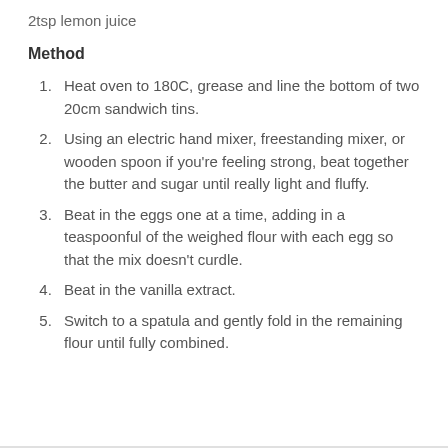2tsp lemon juice
Method
Heat oven to 180C, grease and line the bottom of two 20cm sandwich tins.
Using an electric hand mixer, freestanding mixer, or wooden spoon if you're feeling strong, beat together the butter and sugar until really light and fluffy.
Beat in the eggs one at a time, adding in a teaspoonful of the weighed flour with each egg so that the mix doesn't curdle.
Beat in the vanilla extract.
Switch to a spatula and gently fold in the remaining flour until fully combined.